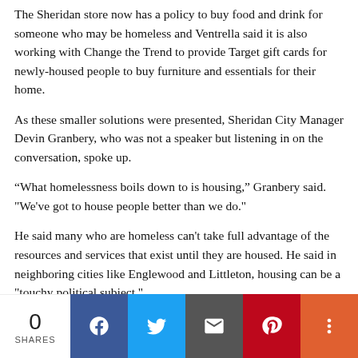The Sheridan store now has a policy to buy food and drink for someone who may be homeless and Ventrella said it is also working with Change the Trend to provide Target gift cards for newly-housed people to buy furniture and essentials for their home.
As these smaller solutions were presented, Sheridan City Manager Devin Granbery, who was not a speaker but listening in on the conversation, spoke up.
“What homelessness boils down to is housing,” Granbery said. "We've got to house people better than we do."
He said many who are homeless can't take full advantage of the resources and services that exist until they are housed. He said in neighboring cities like Englewood and Littleton, housing can be a "touchy political subject."
"And we've got to get over it," Granbery said.
Granbery's comments echoed earlier sentiments from Martin, who said while mental health can be a factor for why someone falls into homelessness, the economic crush many
0 SHARES | Facebook | Twitter | Email | Pinterest | More